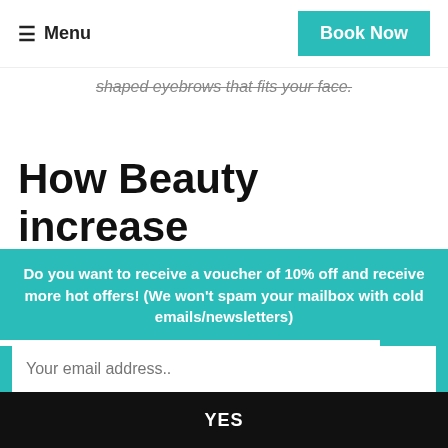Menu | Book Now
shaped eyebrows that fits your face.
How Beauty increase Happiness?
Do you want to receive a voucher of 10% off and receive more hot offers! (We won't spam your mailbox with cold emails/newsletters)
Your email address..
YES